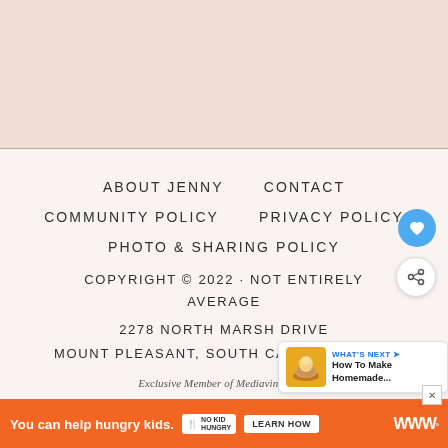ABOUT JENNY    CONTACT
COMMUNITY POLICY    PRIVACY POLICY
PHOTO & SHARING POLICY
COPYRIGHT © 2022 · NOT ENTIRELY AVERAGE
2278 NORTH MARSH DRIVE
MOUNT PLEASANT, SOUTH CAROLINA 29466
Exclusive Member of Mediavine Food
[Figure (screenshot): What's Next widget with cupcake thumbnail and text 'How To Make Homemade...']
[Figure (screenshot): Advertisement banner: orange background, You can help hungry kids. No Kid Hungry logo, LEARN HOW button]